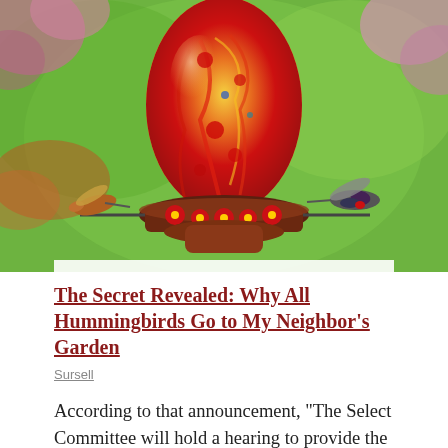[Figure (photo): A colorful glass hummingbird feeder shaped like an ornate egg with red, orange, yellow, and green swirling patterns. Two hummingbirds hover on either side of the feeder. The background shows green foliage and pink flowering branches.]
The Secret Revealed: Why All Hummingbirds Go to My Neighbor's Garden
Sursell
According to that announcement, “The Select Committee will hold a hearing to provide the American people with a summary of our findings about the coordinated, multi-step effort to overturn the 2020 presidential election.”